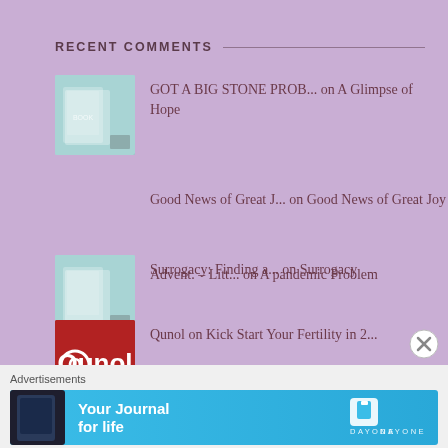RECENT COMMENTS
GOT A BIG STONE PROB... on A Glimpse of Hope
Good News of Great J... on Good News of Great Joy
Advent. – Litt... on A pandemic Problem
Surrogacy: Finding a... on Surrogacy
Qunol on Kick Start Your Fertility in 2...
Advertisements
[Figure (screenshot): Advertisement banner for Day One journal app with cyan/blue background showing phone and 'Your Journal for life' text]